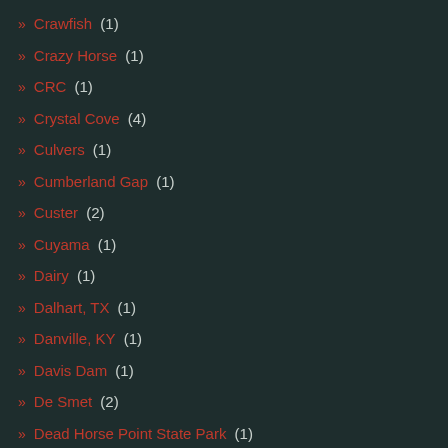» Crawfish (1)
» Crazy Horse (1)
» CRC (1)
» Crystal Cove (4)
» Culvers (1)
» Cumberland Gap (1)
» Custer (2)
» Cuyama (1)
» Dairy (1)
» Dalhart, TX (1)
» Danville, KY (1)
» Davis Dam (1)
» De Smet (2)
» Dead Horse Point State Park (1)
» Deception Pass (1)